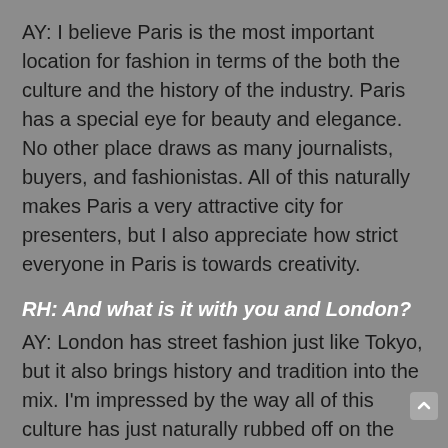AY: I believe Paris is the most important location for fashion in terms of the both the culture and the history of the industry. Paris has a special eye for beauty and elegance. No other place draws as many journalists, buyers, and fashionistas. All of this naturally makes Paris a very attractive city for presenters, but I also appreciate how strict everyone in Paris is towards creativity.
RH: And what is it with you and London?
AY: London has street fashion just like Tokyo, but it also brings history and tradition into the mix. I'm impressed by the way all of this culture has just naturally rubbed off on the younger generations. Another example of something that has really moved me is the culture of the London market where you see young people today buying and even